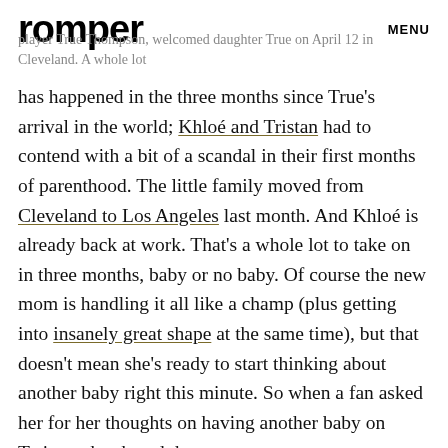romper   MENU
player True Thompson, welcomed daughter True on April 12 in Cleveland. A whole lot has happened in the three months since True's arrival in the world; Khloé and Tristan had to contend with a bit of a scandal in their first months of parenthood. The little family moved from Cleveland to Los Angeles last month. And Khloé is already back at work. That's a whole lot to take on in three months, baby or no baby. Of course the new mom is handling it all like a champ (plus getting into insanely great shape at the same time), but that doesn't mean she's ready to start thinking about another baby right this minute. So when a fan asked her for her thoughts on having another baby on Twitter, she shared them.